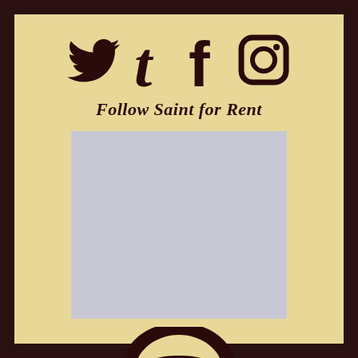[Figure (illustration): Social media icons: Twitter bird, Tumblr 't', Facebook 'f', Instagram camera icon]
Follow Saint for Rent
[Figure (photo): Gray placeholder image box]
[Figure (logo): Partially visible circular logo/emblem at bottom]